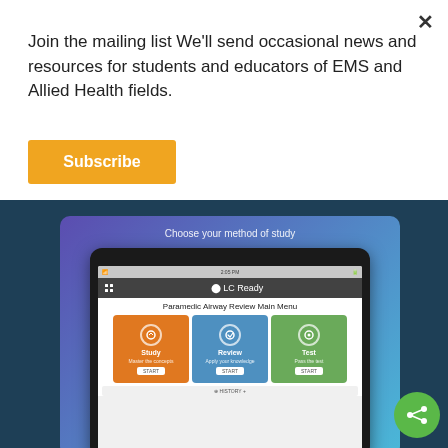Join the mailing list We'll send occasional news and resources for students and educators of EMS and Allied Health fields.
Subscribe
[Figure (screenshot): Mobile app screenshot showing 'LC Ready' app with 'Paramedic Airway Review Main Menu' featuring Study, Review, and Test cards on a tablet against a purple-to-blue gradient background. Displayed within a dark blue section.]